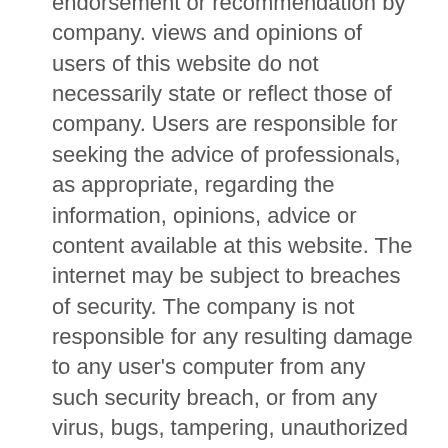endorsement or recommendation by company. views and opinions of users of this website do not necessarily state or reflect those of company. Users are responsible for seeking the advice of professionals, as appropriate, regarding the information, opinions, advice or content available at this website. The internet may be subject to breaches of security. The company is not responsible for any resulting damage to any user's computer from any such security breach, or from any virus, bugs, tampering, unauthorized intervention, fraud, error, omission, interruption, deletion, defect, delay in operation or transmission, computer line failure or any other technical or other malfunction, except if caused by